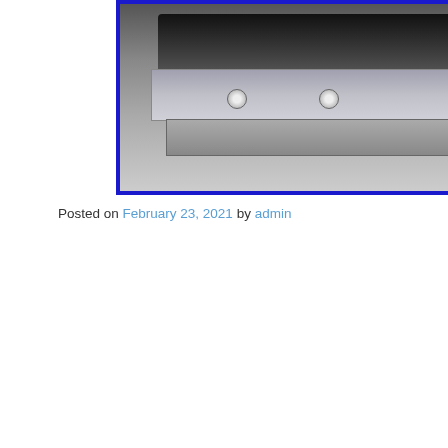[Figure (photo): Photo of a gas griddle/grill appliance with stainless steel body and dark cooking surface, shown with blue border]
Posted on February 23, 2021 by admin
[Figure (illustration): Promotional image of a Gas Griddle with bold italic text 'GAS GRIDDLE', a circular food photo showing grilled meat, and a gas griddle appliance with burgers cooking on top, blue border]